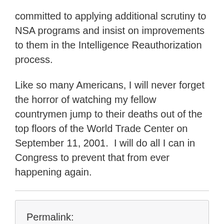committed to applying additional scrutiny to NSA programs and insist on improvements to them in the Intelligence Reauthorization process.
Like so many Americans, I will never forget the horror of watching my fellow countrymen jump to their deaths out of the top floors of the World Trade Center on September 11, 2001.  I will do all I can in Congress to prevent that from ever happening again.
Permalink: https://barr.house.gov/2013/7/open-letter-on-the-amashconyers-amendment